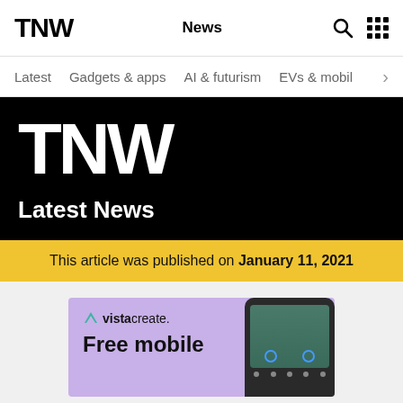TNW | News
Latest
Gadgets & apps
AI & futurism
EVs & mobi…
[Figure (logo): TNW large white logo on black background with 'Latest News' text below]
This article was published on January 11, 2021
[Figure (illustration): VistaCreate advertisement with purple background showing 'Free mobile' text and a phone mockup]